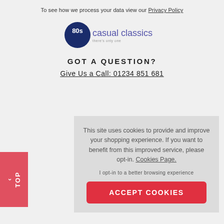To see how we process your data view our Privacy Policy
[Figure (logo): 80s Casual Classics logo — circular dark blue badge with '80s' text plus 'casual classics' brand name in purple/blue]
GOT A QUESTION?
Give Us a Call: 01234 851 681
This site uses cookies to provide and improve your shopping experience. If you want to benefit from this improved service, please opt-in. Cookies Page.
I opt-in to a better browsing experience
ACCEPT COOKIES